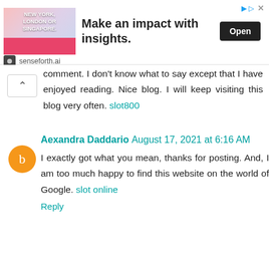[Figure (other): Advertisement banner for senseforth.ai showing 'Make an impact with insights.' with an Open button and a person image]
comment. I don't know what to say except that I have enjoyed reading. Nice blog. I will keep visiting this blog very often. slot800
Reply
Aexandra Daddario August 17, 2021 at 6:16 AM
I exactly got what you mean, thanks for posting. And, I am too much happy to find this website on the world of Google. slot online
Reply